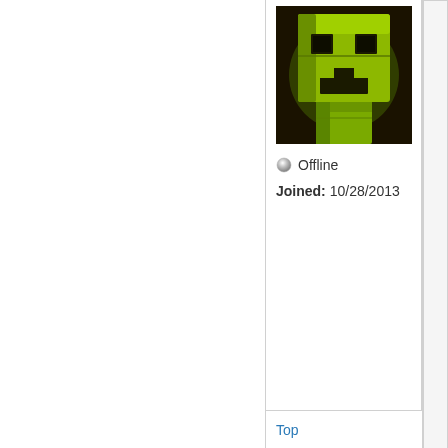[Figure (photo): Minecraft creeper figurine/toy avatar image with green blocky face on dark background]
Offline
Joined: 10/28/2013
Are yo... rolled?... Are th... Is 0 po... What i...
Top